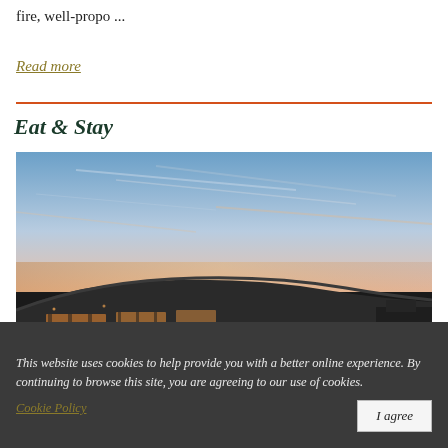fire, well-propo ...
Read more
Eat & Stay
[Figure (photo): Exterior of a modern curved building with large glass windows reflecting warm golden light at sunset, with a dramatic colorful sky of blue, pink, and orange tones in the background.]
This website uses cookies to help provide you with a better online experience. By continuing to browse this site, you are agreeing to our use of cookies. Cookie Policy